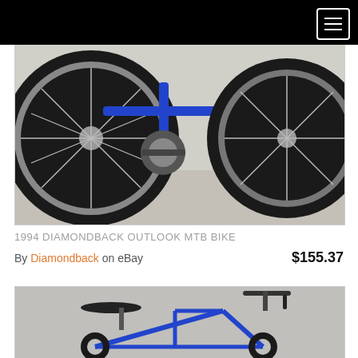Navigation header with hamburger menu
[Figure (photo): Close-up photo of a blue mountain bike from below, showing two large black-tire wheels, spokes, pedals, and frame on a white background]
1994 DIAMONDBACK OUTLOOK MTB BIKE
By Diamondback on eBay  $155.37
[Figure (photo): Photo of a blue Diamondback road/mountain bike showing the full frame with saddle, handlebars with brake levers, and blue frame on a grey background]